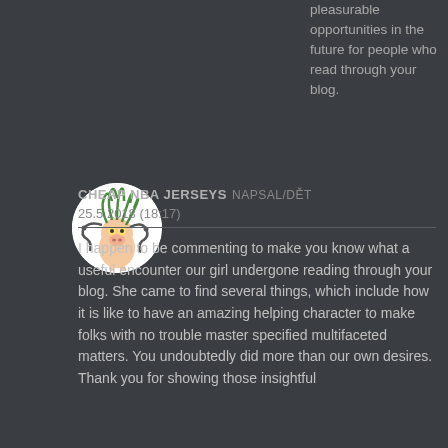pleasurable opportunities in the future for people who read through your blog.
[Figure (illustration): Circular avatar image showing a cartoon character with green tentacle-like hair, yellow eyes, and a pig-like snout, drawn in a quirky style on a white background.]
CHEAP NBA JERSEYS napsal/dět 25.5.2018 (18:17)
I happen to be commenting to make you know what a useful encounter our girl undergone reading through your blog. She came to find several things, which include how it is like to have an amazing helping character to make folks with no trouble master specified multifaceted matters. You undoubtedly did more than our own desires. Thank you for showing those insightful